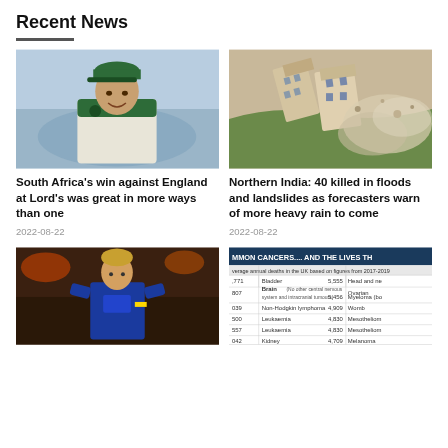Recent News
[Figure (photo): South Africa cricket player smiling, wearing green cap and uniform with protea emblem]
South Africa's win against England at Lord's was great in more ways than one
2022-08-22
[Figure (photo): Buildings collapsing on a hillside in Northern India during floods and landslides, dust and debris visible]
Northern India: 40 killed in floods and landslides as forecasters warn of more heavy rain to come
2022-08-22
[Figure (photo): Rugby player in blue uniform standing on field]
[Figure (table-as-image): Table showing common cancers and lives they take - average annual deaths in the UK based on figures from 2017-2019, listing cancers like Bladder 5,555, Brain, Non-Hodgkin lymphoma 4,909, Leukaemia 4,830, Kidney 4,709, and others]